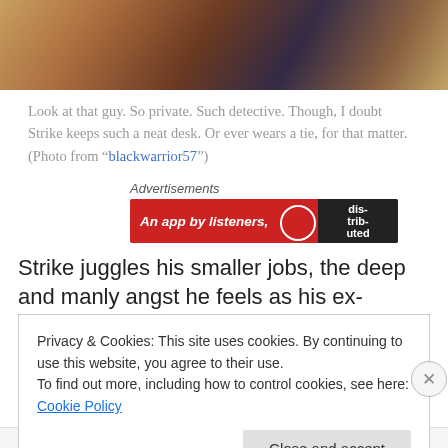[Figure (photo): Top portion of a photo showing a desk scene with a person, papers, and a key, warm brown/orange tones]
Look at that guy. So private. Such detective. Though, I doubt Strike keeps such a neat desk. Or ever wears a tie, for that matter. (Photo from “blackwarrior57”)
[Figure (other): Advertisement banner: An app by listeners. Distrib logo on dark background with circle icon.]
Strike juggles his smaller jobs, the deep and manly angst he feels as his ex-girlfriend prepares to get married to
Privacy & Cookies: This site uses cookies. By continuing to use this website, you agree to their use.
To find out more, including how to control cookies, see here: Cookie Policy